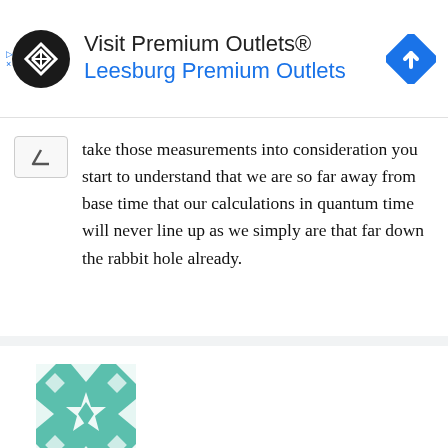[Figure (logo): Visit Premium Outlets® advertisement banner with circular logo icon on left, navigation arrow icon on right, and text 'Visit Premium Outlets® / Leesburg Premium Outlets']
take those measurements into consideration you start to understand that we are so far away from base time that our calculations in quantum time will never line up as we simply are that far down the rabbit hole already.
[Figure (illustration): Teal/green geometric quilt-pattern avatar image for user Joe]
Joe | January 15, 2021 at 10:32 pm | Reply